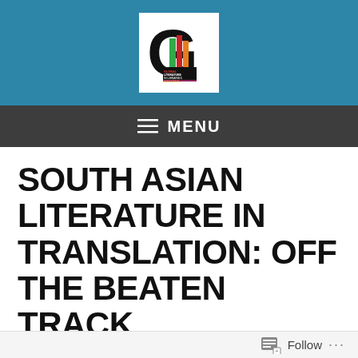[Figure (logo): Global Literature in Libraries Initiative logo — large black letter G with colorful stacked books (green, red, orange) and text 'GLOBAL LITERATURE IN LIBRARIES INITIATIVE' on a white square background, set against a teal/blue header bar]
≡ MENU
SOUTH ASIAN LITERATURE IN TRANSLATION: OFF THE BEATEN TRACK
Follow ...